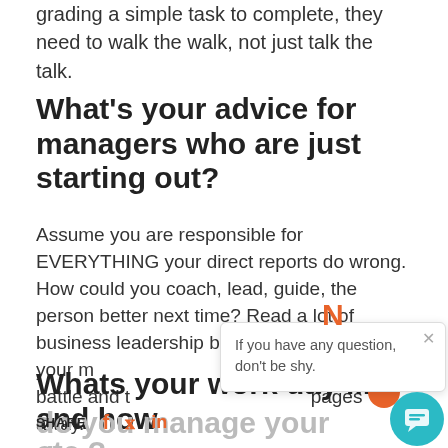grading a simple task to complete, they need to walk the walk, not just talk the talk.
What's your advice for managers who are just starting out?
Assume you are responsible for EVERYTHING your direct reports do wrong. How could you coach, lead, guide, the person better next time? Read a lot of business leadership books, they will blow your mind. Keep them close in the heat of battle and they are just a couple pages away.
Whats your work day like and how do you manage your time, em etc.?
[Figure (other): Popup notification with orange N icon and close button, message: If you have any question, don't be shy.]
SHARE